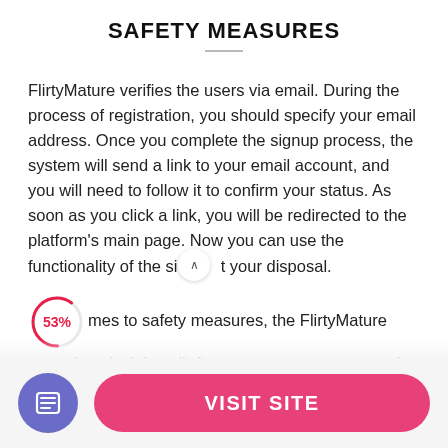SAFETY MEASURES
FlirtyMature verifies the users via email. During the process of registration, you should specify your email address. Once you complete the signup process, the system will send a link to your email account, and you will need to follow it to confirm your status. As soon as you click a link, you will be redirected to the platform's main page. Now you can use the functionality of the si t your disposal.
mes to safety measures, the FlirtyMature team does its job well. As a user, you are protected with first-
[Figure (infographic): A circular progress indicator showing 53% in red text inside a partially drawn red circle outline]
[Figure (infographic): A rounded scroll-up arrow button (white circle with up chevron)]
VISIT SITE